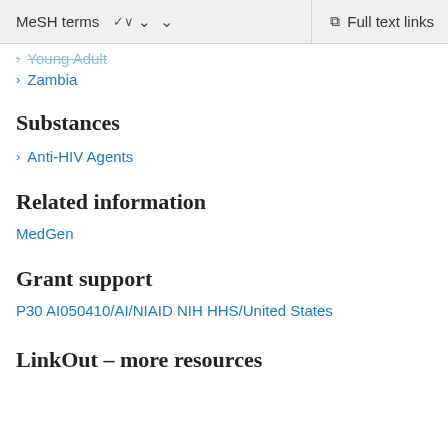MeSH terms   ˅   Full text links
Young Adult
Zambia
Substances
Anti-HIV Agents
Related information
MedGen
Grant support
P30 AI050410/AI/NIAID NIH HHS/United States
LinkOut – more resources